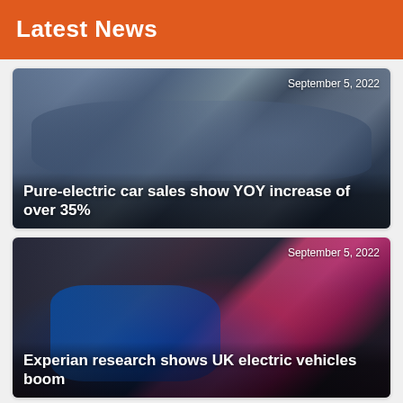Latest News
[Figure (photo): Cars on a factory assembly line, showing electric vehicles being manufactured, with one car's hood open]
September 5, 2022
Pure-electric car sales show YOY increase of over 35%
[Figure (photo): A person's hand plugging an EV charging cable into a pink/magenta electric vehicle at a charging station]
September 5, 2022
Experian research shows UK electric vehicles boom